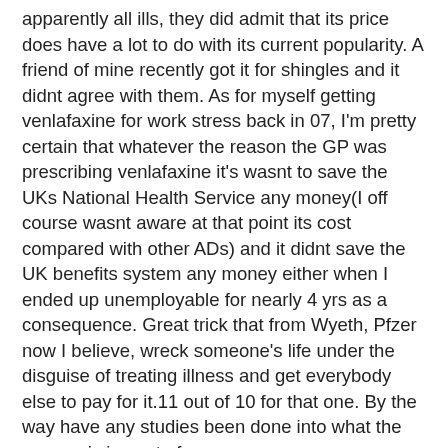apparently all ills, they did admit that its price does have a lot to do with its current popularity. A friend of mine recently got it for shingles and it didnt agree with them. As for myself getting venlafaxine for work stress back in 07, I'm pretty certain that whatever the reason the GP was prescribing venlafaxine it's wasnt to save the UKs National Health Service any money(I off course wasnt aware at that point its cost compared with other ADs) and it didnt save the UK benefits system any money either when I ended up unemployable for nearly 4 yrs as a consequence. Great trick that from Wyeth, Pfzer now I believe, wreck someone's life under the disguise of treating illness and get everybody else to pay for it.11 out of 10 for that one. By the way have any studies been done into what the economic impact of